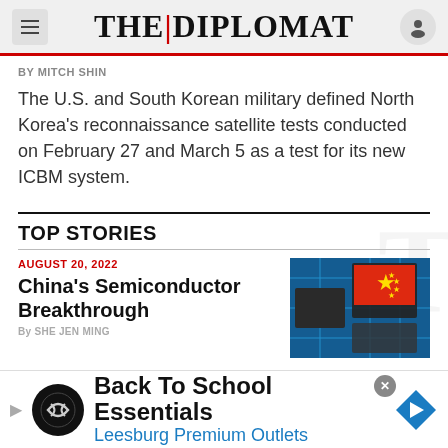THE DIPLOMAT
By MITCH SHIN
The U.S. and South Korean military defined North Korea's reconnaissance satellite tests conducted on February 27 and March 5 as a test for its new ICBM system.
TOP STORIES
AUGUST 20, 2022
China's Semiconductor Breakthrough
By SHE JEN MING
[Figure (photo): Semiconductor chips with Chinese flag overlay on circuit board]
Back To School Essentials Leesburg Premium Outlets